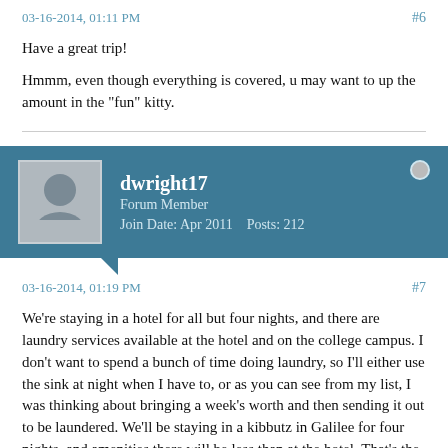03-16-2014, 01:11 PM
#6
Have a great trip!
Hmmm, even though everything is covered, u may want to up the amount in the "fun" kitty.
dwright17
Forum Member
Join Date: Apr 2011    Posts: 212
03-16-2014, 01:19 PM
#7
We're staying in a hotel for all but four nights, and there are laundry services available at the hotel and on the college campus. I don't want to spend a bunch of time doing laundry, so I'll either use the sink at night when I have to, or as you can see from my list, I was thinking about bringing a week's worth and then sending it out to be laundered. We'll be staying in a kibbutz in Galilee for four nights, and amenities there will be less than at the hotel. That's the second week, so I'll have time to prepare for that. Also, there's a store right by the hotel that has